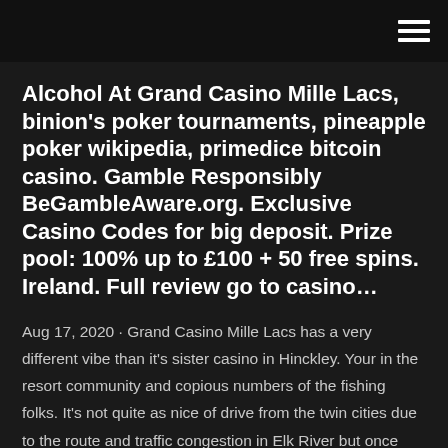≡
Alcohol At Grand Casino Mille Lacs, binion's poker tournaments, pineapple poker wikipedia, primedice bitcoin casino. Gamble Responsibly BeGambleAware.org. Exclusive Casino Codes for big deposit. Prize pool: 100% up to £100 + 50 free spins. Ireland. Full review go to casino…
Aug 17, 2020 · Grand Casino Mille Lacs has a very different vibe than it's sister casino in Hinckley. Your in the resort community and copious numbers of the fishing folks. It's not quite as nice of drive from the twin cities due to the route and traffic congestion in Elk River but once you get past that piece of the road it improves. When you stay at Grand